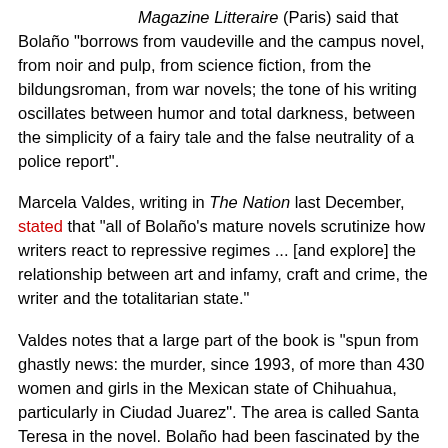Magazine Litteraire (Paris) said that Bolaño "borrows from vaudeville and the campus novel, from noir and pulp, from science fiction, from the bildungsroman, from war novels; the tone of his writing oscillates between humor and total darkness, between the simplicity of a fairy tale and the false neutrality of a police report".
Marcela Valdes, writing in The Nation last December, stated that "all of Bolaño's mature novels scrutinize how writers react to repressive regimes ... [and explore] the relationship between art and infamy, craft and crime, the writer and the totalitarian state."
Valdes notes that a large part of the book is "spun from ghastly news: the murder, since 1993, of more than 430 women and girls in the Mexican state of Chihuahua, particularly in Ciudad Juarez". The area is called Santa Teresa in the novel. Bolaño had been fascinated by the murders for a long time and his relationship with reporter Sergio González Rodríguez (who investigated the crimes, most of which remain unsolved; see also Salon, 2002) is explored at length in her article.